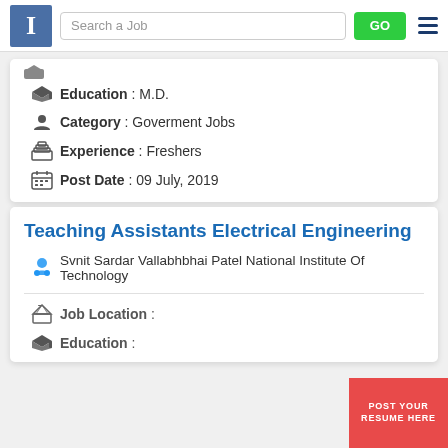I [logo] | Search a Job | GO | [menu]
Education : M.D.
Category : Goverment Jobs
Experience : Freshers
Post Date : 09 July, 2019
Teaching Assistants Electrical Engineering
Svnit Sardar Vallabhbhai Patel National Institute Of Technology
Job Location :
Education :
POST YOUR RESUME HERE